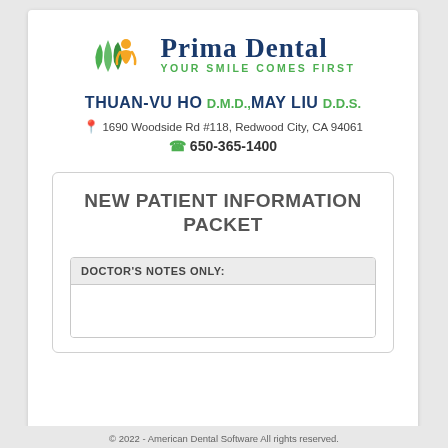[Figure (logo): Prima Dental logo with green leaves and orange figure icon, text 'Prima Dental YOUR SMILE COMES FIRST']
THUAN-VU HO D.M.D., MAY LIU D.D.S.
1690 Woodside Rd #118, Redwood City, CA 94061
650-365-1400
NEW PATIENT INFORMATION PACKET
DOCTOR'S NOTES ONLY:
© 2022 - American Dental Software All rights reserved.